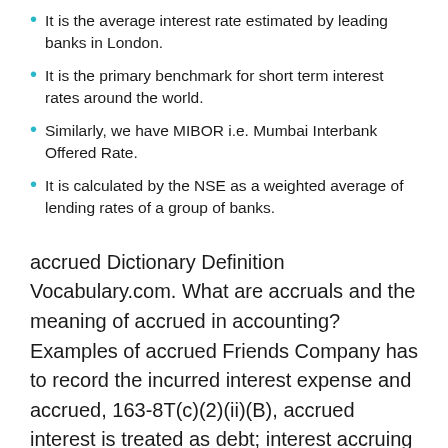It is the average interest rate estimated by leading banks in London.
It is the primary benchmark for short term interest rates around the world.
Similarly, we have MIBOR i.e. Mumbai Interbank Offered Rate.
It is calculated by the NSE as a weighted average of lending rates of a group of banks.
accrued Dictionary Definition Vocabulary.com. What are accruals and the meaning of accrued in accounting? Examples of accrued Friends Company has to record the incurred interest expense and accrued, 163-8T(c)(2)(ii)(B), accrued interest is treated as debt; interest accruing on unpaid interest is allocated in the same way as the unpaid interest..